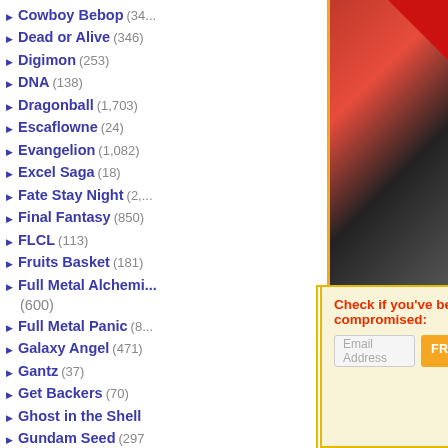Cowboy Bebop (34...
Dead or Alive (346)
Digimon (253)
DNA (138)
Dragonball (1,703)
Escaflowne (24)
Evangelion (1,082)
Excel Saga (18)
Fate Stay Night (2,...)
Final Fantasy (850)
FLCL (113)
Fruits Basket (181)
Full Metal Alchemi... (600)
Full Metal Panic (8...)
Galaxy Angel (471)
Gantz (37)
Get Backers (70)
Ghost in the Shell
Gundam Seed (297)
Gundam Wing (285)
Gunslinger Girl (59)
Hack Sign (78)
Haibane Renmei (4...)
Hamtaro (50)
Hello Kitty (299)
Hellsing (339)
Howls Moving Ca... (60)
Hyper Police (9)
[Figure (screenshot): Website navigation sidebar with anime titles and counts, overlaid by an advertisement popup]
Corporations are recklessly hoarding your sensitive data!
When they get hacked, you're at risk of identity theft or worse!
Check if you've been compromised:
Email Address
FREE SCAN